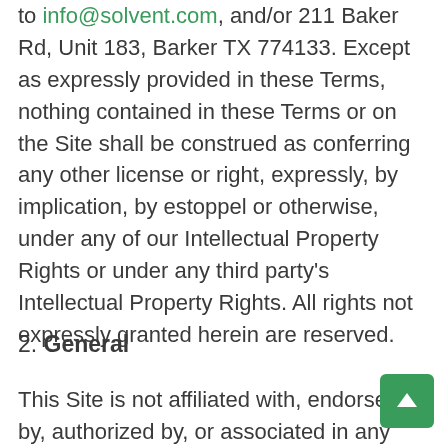to info@solvent.com, and/or 211 Baker Rd, Unit 183, Barker TX 774133. Except as expressly provided in these Terms, nothing contained in these Terms or on the Site shall be construed as conferring any other license or right, expressly, by implication, by estoppel or otherwise, under any of our Intellectual Property Rights or under any third party's Intellectual Property Rights. All rights not expressly granted herein are reserved.
2. General
This Site is not affiliated with, endorsed by, authorized by, or associated in any way with any government (whether federal or state), government agency, military, or country. The Site and Content have been prepared for general information purposes only. By using